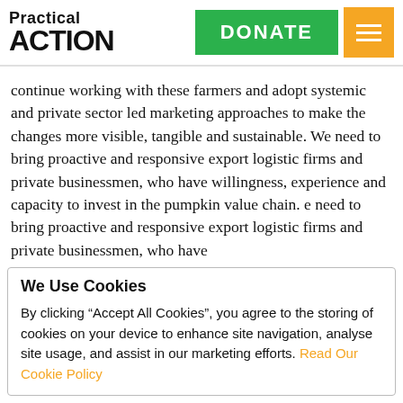Practical ACTION | DONATE | [menu]
continue working with these farmers and adopt systemic and private sector led marketing approaches to make the changes more visible, tangible and sustainable. We need to bring proactive and responsive export logistic firms and private businessmen, who have willingness, experience and capacity to invest in the pumpkin value chain. e need to bring proactive and responsive export logistic firms and private businessmen, who have
We Use Cookies
By clicking “Accept All Cookies”, you agree to the storing of cookies on your device to enhance site navigation, analyse site usage, and assist in our marketing efforts. Read Our Cookie Policy